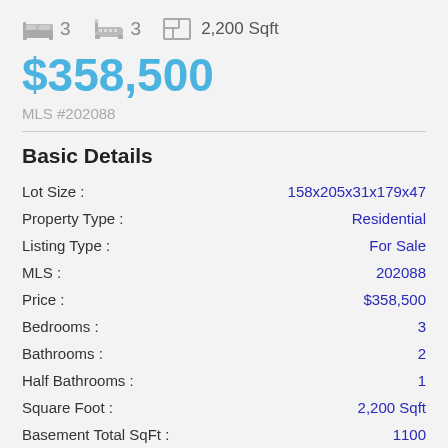[Figure (infographic): Icons row showing 3 bedrooms (bed icon), 3 bathrooms (bath icon), and 2,200 Sqft (floor plan icon)]
$358,500
MLS #202088
Basic Details
| Field | Value |
| --- | --- |
| Lot Size : | 158x205x31x179x47 |
| Property Type : | Residential |
| Listing Type : | For Sale |
| MLS : | 202088 |
| Price : | $358,500 |
| Bedrooms : | 3 |
| Bathrooms : | 2 |
| Half Bathrooms : | 1 |
| Square Foot : | 2,200 Sqft |
| Basement Total SqFt : | 1100 |